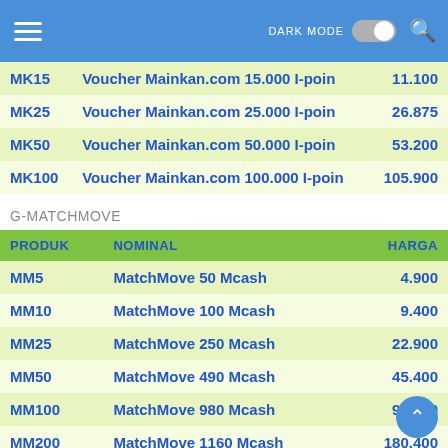DARK MODE
| PRODUK | NOMINAL | HARGA |
| --- | --- | --- |
| MK15 | Voucher Mainkan.com 15.000 I-poin | 11.100 |
| MK25 | Voucher Mainkan.com 25.000 I-poin | 26.875 |
| MK50 | Voucher Mainkan.com 50.000 I-poin | 53.200 |
| MK100 | Voucher Mainkan.com 100.000 I-poin | 105.900 |
G-MATCHMOVE
| PRODUK | NOMINAL | HARGA |
| --- | --- | --- |
| MM5 | MatchMove 50 Mcash | 4.900 |
| MM10 | MatchMove 100 Mcash | 9.400 |
| MM25 | MatchMove 250 Mcash | 22.900 |
| MM50 | MatchMove 490 Mcash | 45.400 |
| MM100 | MatchMove 980 Mcash | 90.400 |
| MM200 | MatchMove 1160 Mcash | 180.400 |